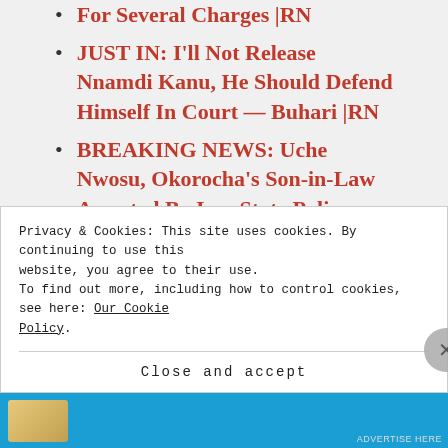For Several Charges |RN
JUST IN: I'll Not Release Nnamdi Kanu, He Should Defend Himself In Court — Buhari |RN
BREAKING NEWS: Uche Nwosu, Okorocha's Son-in-Law Arrested By Imo State Police Command, Not Kidnapped [video]
Obasanio, Northern Elite, Monarchs
Privacy & Cookies: This site uses cookies. By continuing to use this website, you agree to their use.
To find out more, including how to control cookies, see here: Our Cookie Policy
Close and accept